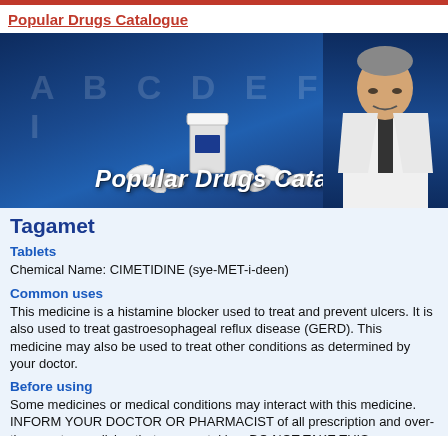Popular Drugs Catalogue
[Figure (illustration): Banner image with blue gradient background, letters A B C D E F G H I, pill bottle and scattered pills, 'Popular Drugs Catalog' text overlay, and a doctor in white coat on the right side.]
Tagamet
Tablets
Chemical Name: CIMETIDINE (sye-MET-i-deen)
Common uses
This medicine is a histamine blocker used to treat and prevent ulcers. It is also used to treat gastroesophageal reflux disease (GERD). This medicine may also be used to treat other conditions as determined by your doctor.
Before using
Some medicines or medical conditions may interact with this medicine. INFORM YOUR DOCTOR OR PHARMACIST of all prescription and over-the-counter medicine that you are taking. DO NOT TAKE THIS MEDICINE if you are also taking medicine for cancer (nitrosoureas). ADDITIONAL MONITORING OF YOUR DOSE OR CONDITION may be needed if you are taking nifedipine, procainamide, quinidine, theophylline, tricyclic antidepressants, warfarin, zaleplon, or medicine for high blood pressure or heart rate (beta blockers) or seizures. Inform your doctor of any other medical conditions, allergies, pregnancy, or breast-feeding. Contact your doctor or pharmacist if you have any questions or concerns about using this medicine.